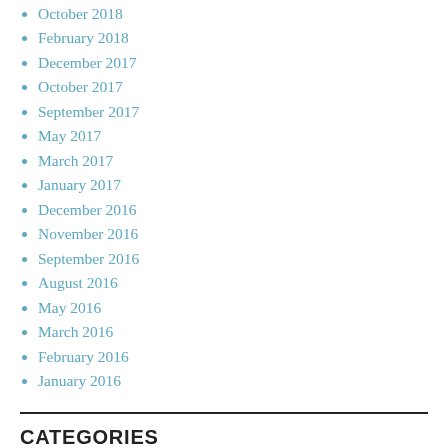October 2018
February 2018
December 2017
October 2017
September 2017
May 2017
March 2017
January 2017
December 2016
November 2016
September 2016
August 2016
May 2016
March 2016
February 2016
January 2016
CATEGORIES
Announcement
Background
Community Consultation
Meeting Report
Publication